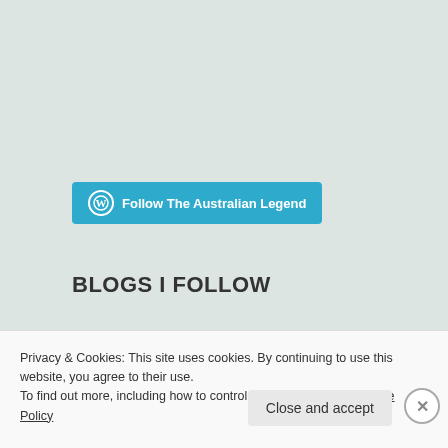[Figure (logo): WordPress follow button: blue rounded button with WordPress logo and text 'Follow The Australian Legend']
BLOGS I FOLLOW
Marcie McCauley
Pechorin's Journal
Buried In Print
louloureads
bronashooks.wordpress.com/
Privacy & Cookies: This site uses cookies. By continuing to use this website, you agree to their use.
To find out more, including how to control cookies, see here: Cookie Policy
Close and accept